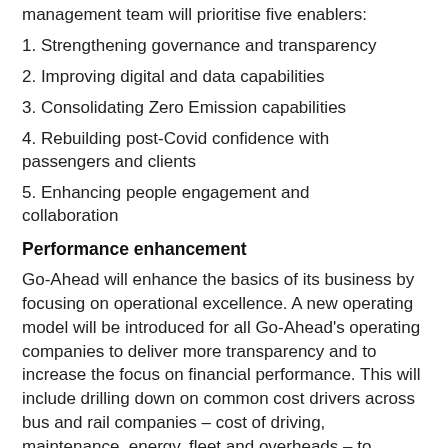management team will prioritise five enablers:
1. Strengthening governance and transparency
2. Improving digital and data capabilities
3. Consolidating Zero Emission capabilities
4. Rebuilding post-Covid confidence with passengers and clients
5. Enhancing people engagement and collaboration
Performance enhancement
Go-Ahead will enhance the basics of its business by focusing on operational excellence. A new operating model will be introduced for all Go-Ahead's operating companies to deliver more transparency and to increase the focus on financial performance. This will include drilling down on common cost drivers across bus and rail companies – cost of driving, maintenance, energy, fleet and overheads – to identify and